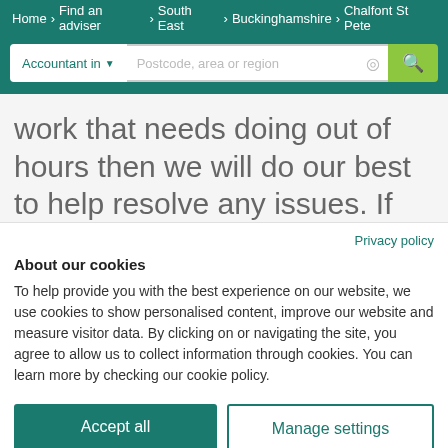Home > Find an adviser > South East > Buckinghamshire > Chalfont St Pete
work that needs doing out of hours then we will do our best to help resolve any issues. If the website
Privacy policy
About our cookies
To help provide you with the best experience on our website, we use cookies to show personalised content, improve our website and measure visitor data. By clicking on or navigating the site, you agree to allow us to collect information through cookies. You can learn more by checking our cookie policy.
Accept all
Manage settings